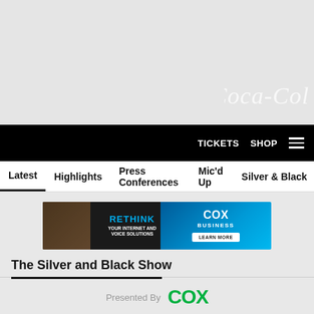[Figure (logo): Coca-Cola script logo watermark in light gray/white at top right of gray banner area]
TICKETS  SHOP  ☰
Latest  Highlights  Press Conferences  Mic'd Up  Silver & Black
[Figure (infographic): Cox Business advertisement banner: RETHINK YOUR INTERNET AND VOICE SOLUTIONS | COX BUSINESS LEARN MORE]
The Silver and Black Show
Presented By  COX